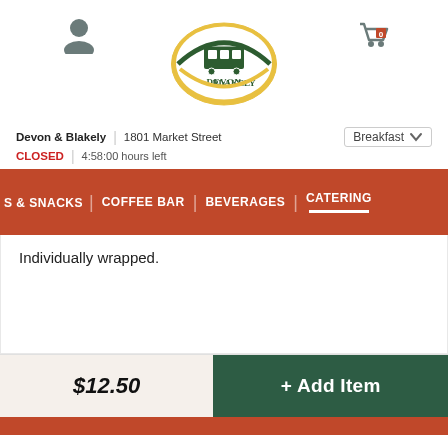[Figure (logo): Devon & Blakely restaurant logo — green and gold oval badge with train illustration]
Devon & Blakely | 1801 Market Street
CLOSED | 4:58:00 hours left
Breakfast ∨
S & SNACKS | COFFEE BAR | BEVERAGES | CATERING
Individually wrapped.
$12.50
+ Add Item